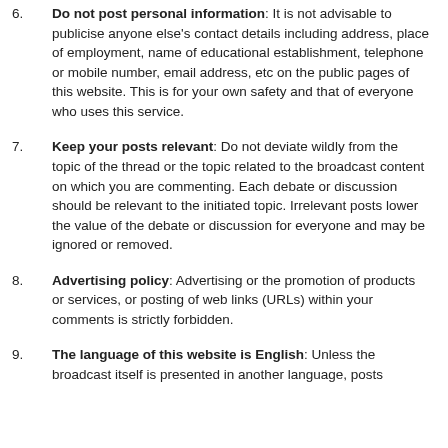Do not post personal information: It is not advisable to publicise anyone else's contact details including address, place of employment, name of educational establishment, telephone or mobile number, email address, etc on the public pages of this website. This is for your own safety and that of everyone who uses this service.
Keep your posts relevant: Do not deviate wildly from the topic of the thread or the topic related to the broadcast content on which you are commenting. Each debate or discussion should be relevant to the initiated topic. Irrelevant posts lower the value of the debate or discussion for everyone and may be ignored or removed.
Advertising policy: Advertising or the promotion of products or services, or posting of web links (URLs) within your comments is strictly forbidden.
The language of this website is English: Unless the broadcast itself is presented in another language, posts